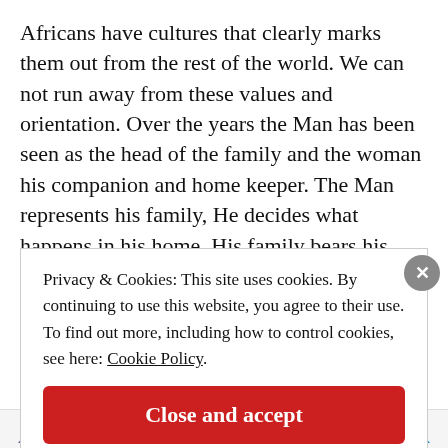Africans have cultures that clearly marks them out from the rest of the world. We can not run away from these values and orientation. Over the years the Man has been seen as the head of the family and the woman his companion and home keeper. The Man represents his family, He decides what happens in his home, His family bears his name. But recently, things are changing. Women are
Privacy & Cookies: This site uses cookies. By continuing to use this website, you agree to their use. To find out more, including how to control cookies, see here: Cookie Policy
Close and accept